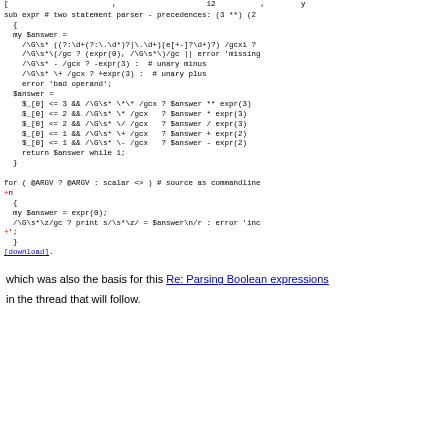[...truncated top line...]
sub expr # two statement parser - precedences: (3 **) (2 ...
for ( @ARGV ? @ARGV : scalar <> ) # source as commandline
+n
    {
    my $answer = expr(0);
    /\G\s*\z/gc ? print s/\s*\z/ = $answer\n/r : error 'inc
+';
[download].
which was also the basis for this Re: Parsing Boolean expressions